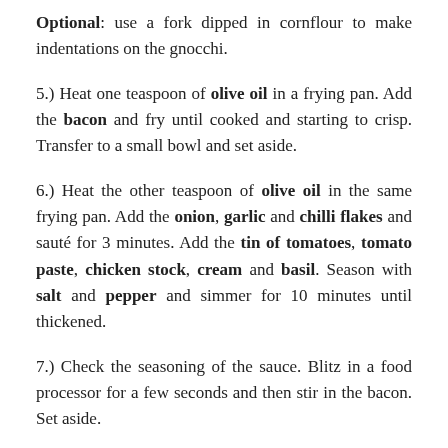Optional: use a fork dipped in cornflour to make indentations on the gnocchi.
5.) Heat one teaspoon of olive oil in a frying pan. Add the bacon and fry until cooked and starting to crisp. Transfer to a small bowl and set aside.
6.) Heat the other teaspoon of olive oil in the same frying pan. Add the onion, garlic and chilli flakes and sauté for 3 minutes. Add the tin of tomatoes, tomato paste, chicken stock, cream and basil. Season with salt and pepper and simmer for 10 minutes until thickened.
7.) Check the seasoning of the sauce. Blitz in a food processor for a few seconds and then stir in the bacon. Set aside.